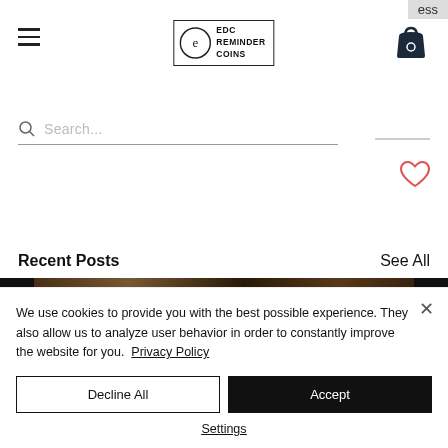[Figure (screenshot): Website navigation bar with hamburger menu, EDC Reminder Coins logo, and shopping cart icon. Partial text 'ess' visible at top right.]
[Figure (screenshot): Search bar with magnifying glass icon and placeholder text 'Search...' followed by a horizontal divider line. Heart/wishlist icon on the right side.]
Recent Posts
See All
[Figure (screenshot): Post thumbnail strip showing black bars on each side and a dark brown/wood-textured image in the center.]
We use cookies to provide you with the best possible experience. They also allow us to analyze user behavior in order to constantly improve the website for you.  Privacy Policy
Decline All
Accept
Settings